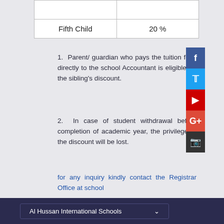| Fifth Child | 20 % |
1. Parent/ guardian who pays the tuition fees directly to the school Accountant is eligible for the sibling's discount.
2. In case of student withdrawal before completion of academic year, the privilege of the discount will be lost.
for any inquiry kindly contact the Registrar Office at school
Al Hussan International Schools